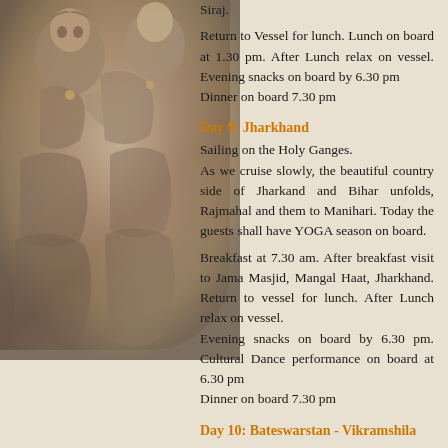Siraj.
Return to Vessel for lunch. Lunch on board at 1.30 pm. After Lunch relax on vessel. Evening snacks on board by 6.30 pm Dinner on board 7.30 pm
Day 9: Jharkhand
Sailing on the Holy Ganges. As we cruise slowly, the beautiful country side of Jharkand and Bihar unfolds, Rajmahal and them to Manihari. Today the guests shall have YOGA season on board.
Breakfast at 7.30 am. After breakfast visit to Jama Masjid, Mangal Haat, Jharkhand. Return to vessel for lunch. After Lunch relax on vessel. Evening snacks on board by 6.30 pm. Cultural Dance performance on board at 6.30 pm Dinner on board 7.30 pm
Day 10: Bateswarstan - Vikramshila
Breakfast at 7.30 am. After early Breakfast disembark to Return to the next visit